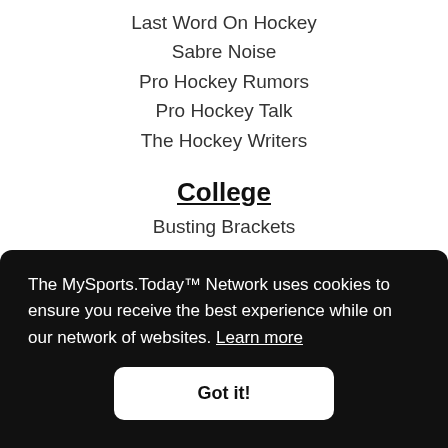Last Word On Hockey
Sabre Noise
Pro Hockey Rumors
Pro Hockey Talk
The Hockey Writers
College
Busting Brackets
College Sports Madness
Forgotten 5
Health Belt (partially visible)
The MySports.Today™ Network uses cookies to ensure you receive the best experience while on our network of websites. Learn more
Got it!